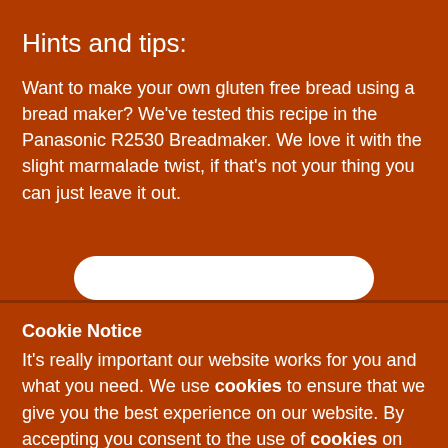Hints and tips:
Want to make your own gluten free bread using a bread maker? We've tested this recipe in the Panasonic R2530 Breadmaker. We love it with the slight marmalade twist, if that's not your thing you can just leave it out.
Cookie Notice
It's really important our website works for you and what you need. We use cookies to ensure that we give you the best experience on our website. By accepting you consent to the use of cookies on your device as described in our cookie policy. However, if you prefer, you can change your cookie settings at any time.
Accept all cookies